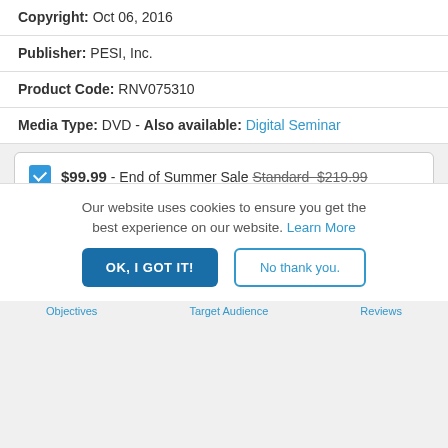Copyright: Oct 06, 2016
Publisher: PESI, Inc.
Product Code: RNV075310
Media Type: DVD - Also available: Digital Seminar
$99.99 - End of Summer Sale Standard $219.99
$19.99 - Additional Physical CE What's this?
Save for Later
Add to Cart »
Our website uses cookies to ensure you get the best experience on our website. Learn More
OK, I GOT IT!
No thank you.
Objectives  Target Audience  Reviews